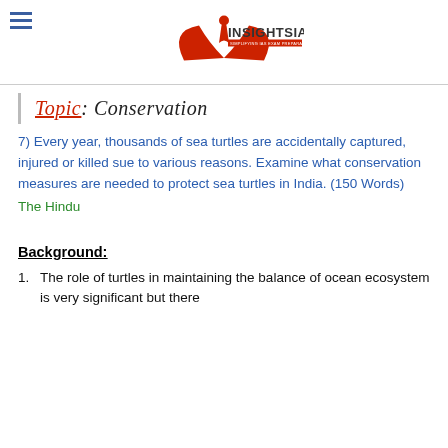INSIGHTSIAS - SIMPLIFYING IAS EXAM PREPARATION
Topic: Conservation
7) Every year, thousands of sea turtles are accidentally captured, injured or killed sue to various reasons. Examine what conservation measures are needed to protect sea turtles in India. (150 Words)
The Hindu
Background:
The role of turtles in maintaining the balance of ocean ecosystem is very significant but there